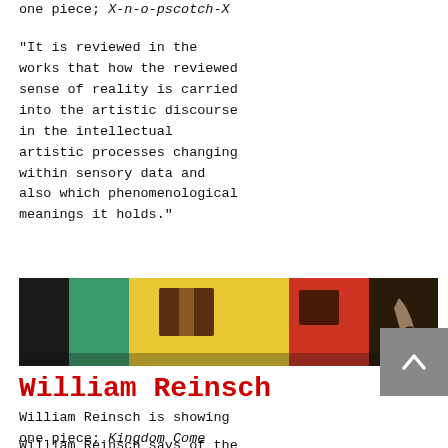one piece; X-n-o-pscotch-X
"It is reviewed in the works that how the reviewed sense of reality is carried into the artistic discourse in the intellectual artistic processes changing within sensory data and also which phenomenological meanings it holds."
[Figure (photo): Photograph of colorful building exterior with bright yellow, green, red walls and dark windows, cropped horizontally]
William Reinsch
William Reinsch is showing one piece; Kingdom Come
William Reinsch says of the